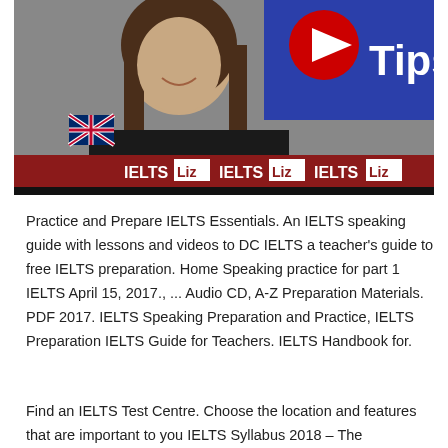[Figure (photo): Video thumbnail showing a woman in a black top smiling, with IELTS Liz branding visible including a YouTube play button and 'Tips' text on a blue background, and the IELTS Liz banner repeated at the bottom.]
Practice and Prepare IELTS Essentials. An IELTS speaking guide with lessons and videos to DC IELTS a teacher's guide to free IELTS preparation. Home Speaking practice for part 1 IELTS April 15, 2017., ... Audio CD, A-Z Preparation Materials. PDF 2017. IELTS Speaking Preparation and Practice, IELTS Preparation IELTS Guide for Teachers. IELTS Handbook for.
Find an IELTS Test Centre. Choose the location and features that are important to you IELTS Syllabus 2018 – The